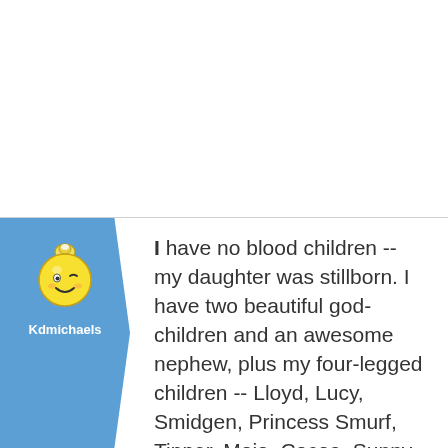[Figure (illustration): Blue panel with a cartoon smiley face / coin purse mascot avatar (yellow round face with a winking expression, wearing a white bag-shaped top), with username 'Kdmichaels' below in white text]
I have no blood children -- my daughter was stillborn. I have two beautiful god-children and an awesome nephew, plus my four-legged children -- Lloyd, Lucy, Smidgen, Princess Smurf, Tipper, Mojo, Cocoa, Sunny and Bonehead